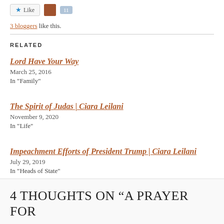3 bloggers like this.
RELATED
Lord Have Your Way
March 25, 2016
In "Family"
The Spirit of Judas | Ciara Leilani
November 9, 2020
In "Life"
Impeachment Efforts of President Trump | Ciara Leilani
July 29, 2019
In "Heads of State"
4 THOUGHTS ON “A PRAYER FOR